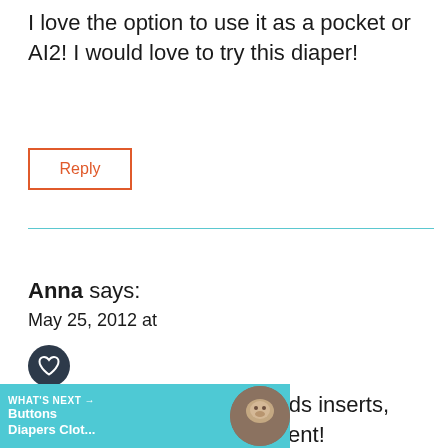I love the option to use it as a pocket or AI2! I would love to try this diaper!
Reply
Anna says:
May 25, 2012 at
I love the super pods inserts, they're so absorbent!
[Figure (infographic): Social share widget with heart icon, share count (236), and share button overlay]
[Figure (infographic): What's Next banner with Buttons Diapers Clot... article preview and thumbnail image]